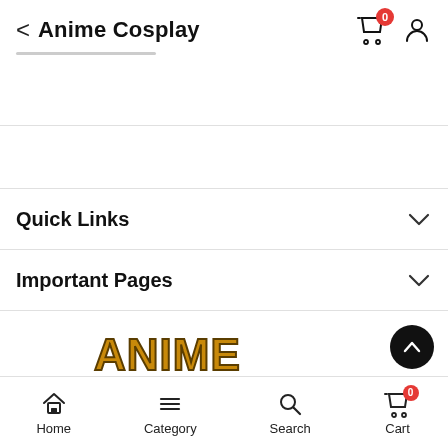Anime Cosplay
Quick Links
Important Pages
[Figure (logo): Anime Cosplay logo text in gold/yellow bold stylized font, partially visible at bottom of page]
Home  Category  Search  Cart